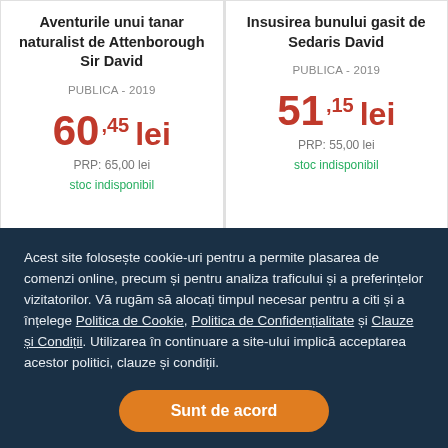Aventurile unui tanar naturalist de Attenborough Sir David
PUBLICA - 2019
60,45 lei
PRP: 65,00 lei
stoc indisponibil
Insusirea bunului gasit de Sedaris David
PUBLICA - 2019
51,15 lei
PRP: 55,00 lei
stoc indisponibil
Acest site folosește cookie-uri pentru a permite plasarea de comenzi online, precum și pentru analiza traficului și a preferințelor vizitatorilor. Vă rugăm să alocați timpul necesar pentru a citi și a înțelege Politica de Cookie, Politica de Confidențialitate și Clauze și Condiții. Utilizarea în continuare a site-ului implică acceptarea acestor politici, clauze și condiții.
Sunt de acord